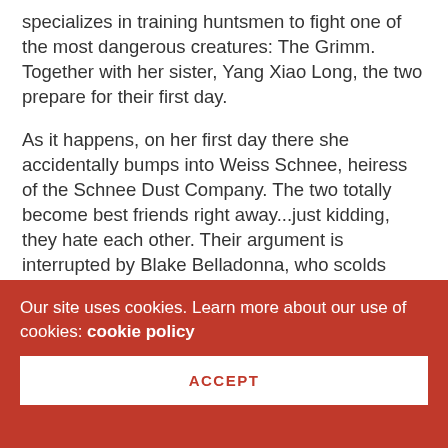specializes in training huntsmen to fight one of the most dangerous creatures: The Grimm. Together with her sister, Yang Xiao Long, the two prepare for their first day.
As it happens, on her first day there she accidentally bumps into Weiss Schnee, heiress of the Schnee Dust Company. The two totally become best friends right away...just kidding, they hate each other. Their argument is interrupted by Blake Belladonna, who scolds Weiss for being arrogant.
That’s where her luck ends though as she soon finds herself rooming with Weiss. At least Blake and Yang
Our site uses cookies. Learn more about our use of cookies: cookie policy
ACCEPT